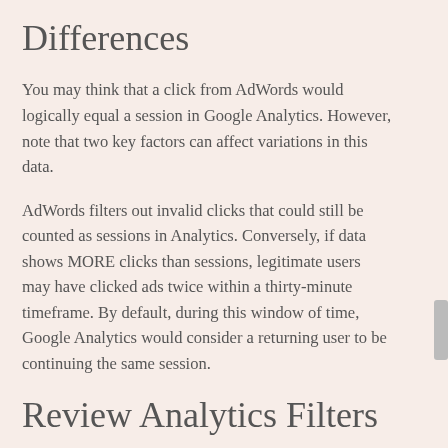Differences
You may think that a click from AdWords would logically equal a session in Google Analytics. However, note that two key factors can affect variations in this data.
AdWords filters out invalid clicks that could still be counted as sessions in Analytics. Conversely, if data shows MORE clicks than sessions, legitimate users may have clicked ads twice within a thirty-minute timeframe. By default, during this window of time, Google Analytics would consider a returning user to be continuing the same session.
Review Analytics Filters
You may be using a filtered view in Google Analytics that excludes some traffic. For instance, your view